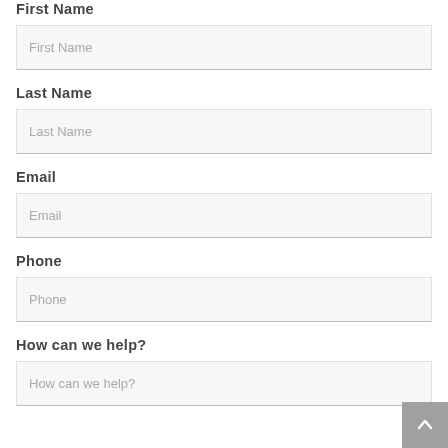First Name
First Name
Last Name
Last Name
Email
Email
Phone
Phone
How can we help?
How can we help?